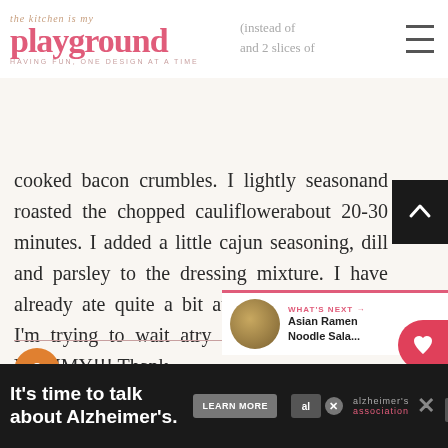the kitchen is my playground — HAVING FUN, ONE DESIGN AT A TIME
cooked bacon crumbles. I lightly seasoned and roasted the chopped cauliflower about 20-30 minutes. I added a little cajun seasoning, dill and parsley to the dressing mixture. I have already ate quite a bit at room temperature. I'm trying to wait and try it out once chilled. YUMMY!!! Thank
WHAT'S NEXT → Asian Ramen Noodle Sala...
Jen
It's time to talk about Alzheimer's.